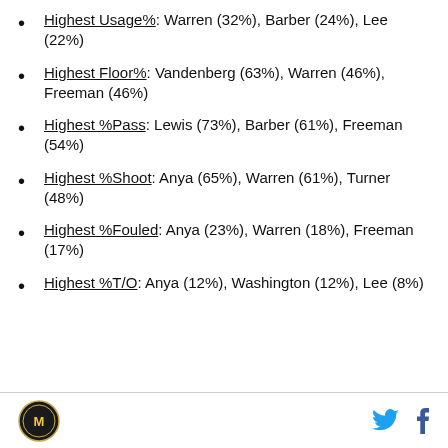Highest Usage%: Warren (32%), Barber (24%), Lee (22%)
Highest Floor%: Vandenberg (63%), Warren (46%), Freeman (46%)
Highest %Pass: Lewis (73%), Barber (61%), Freeman (54%)
Highest %Shoot: Anya (65%), Warren (61%), Turner (48%)
Highest %Fouled: Anya (23%), Warren (18%), Freeman (17%)
Highest %T/O: Anya (12%), Washington (12%), Lee (8%)
Logo, Twitter, Facebook icons